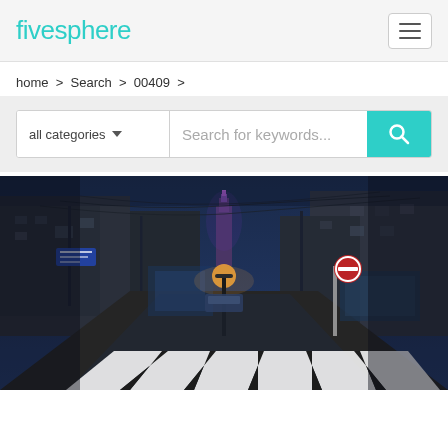fivesphere
home > Search > 00409 >
all categories   Search for keywords...
[Figure (photo): Night street scene in an Asian city alleyway with zebra crossing in the foreground, old buildings on both sides, a glowing tower visible in the background, blue-toned ambient lighting, and a no-entry traffic sign on the right.]